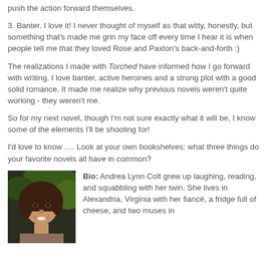push the action forward themselves.
3. Banter. I love it! I never thought of myself as that witty, honestly, but something that's made me grin my face off every time I hear it is when people tell me that they loved Rose and Paxton's back-and-forth :)
The realizations I made with Torched have informed how I go forward with writing. I love banter, active heroines and a strong plot with a good solid romance. It made me realize why previous novels weren't quite working - they weren't me.
So for my next novel, though I'm not sure exactly what it will be, I know some of the elements I'll be shooting for!
I'd love to know …. Look at your own bookshelves: what three things do your favorite novels all have in common?
Bio: Andrea Lynn Colt grew up laughing, reading, and squabbling with her twin. She lives in Alexandria, Virginia with her fiancé, a fridge full of cheese, and two muses in